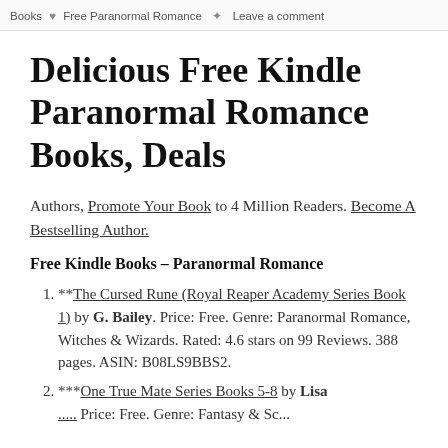Books  ♥  Free Paranormal Romance  ✦  Leave a comment
Delicious Free Kindle Paranormal Romance Books, Deals
Authors, Promote Your Book to 4 Million Readers. Become A Bestselling Author.
Free Kindle Books – Paranormal Romance
**The Cursed Rune (Royal Reaper Academy Series Book 1) by G. Bailey. Price: Free. Genre: Paranormal Romance, Witches & Wizards. Rated: 4.6 stars on 99 Reviews. 388 pages. ASIN: B08LS9BBS2.
***One True Mate Series Books 5-8 by Lisa ...